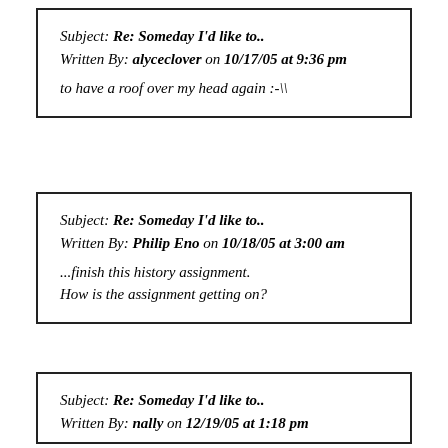Subject: Re: Someday I'd like to.. Written By: alyceclover on 10/17/05 at 9:36 pm to have a roof over my head again :-\\
Subject: Re: Someday I'd like to.. Written By: Philip Eno on 10/18/05 at 3:00 am ...finish this history assignment. How is the assignment getting on?
Subject: Re: Someday I'd like to.. Written By: nally on 12/19/05 at 1:18 pm